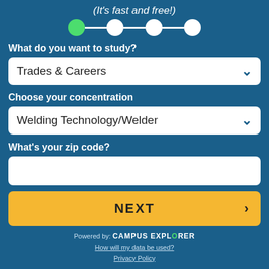(It's fast and free!)
[Figure (infographic): Step progress indicator with 4 circles connected by lines; first circle is green (active), remaining three are white]
What do you want to study?
Trades & Careers
Choose your concentration
Welding Technology/Welder
What's your zip code?
NEXT
Powered by: CAMPUS EXPLORER
How will my data be used?
Privacy Policy